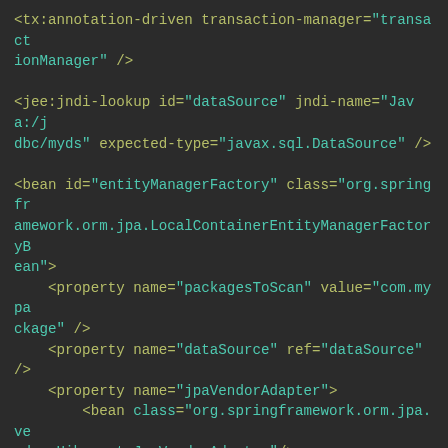<tx:annotation-driven transaction-manager="transactionManager" />

<jee:jndi-lookup id="dataSource" jndi-name="Java:/jdbc/myds" expected-type="javax.sql.DataSource" />

<bean id="entityManagerFactory" class="org.springframework.orm.jpa.LocalContainerEntityManagerFactoryBean">
    <property name="packagesToScan" value="com.mypackage" />
    <property name="dataSource" ref="dataSource" />
    <property name="jpaVendorAdapter">
        <bean class="org.springframework.orm.jpa.vendor.HibernateJpaVendorAdapter"/>
    </property>
    <property name="jpaProperties">
        <props>
            <prop key="hibernate.dialect>org.hibernate.dialect.Oracle10gDialect</prop>
        </props>
    </property>
    </property>